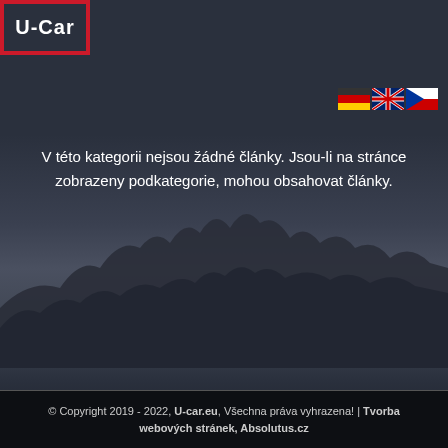[Figure (logo): U-Car logo in white text inside a red border rectangle, top left corner]
[Figure (illustration): Three country flag icons (German, UK/English, Czech) displayed horizontally at top right]
V této kategorii nejsou žádné články. Jsou-li na stránce zobrazeny podkategorie, mohou obsahovat články.
[Figure (illustration): Dark mountain/forest landscape background silhouette, dark blue-grey tones]
© Copyright 2019 - 2022, U-car.eu, Všechna práva vyhrazena! | Tvorba webových stránek, Absolutus.cz